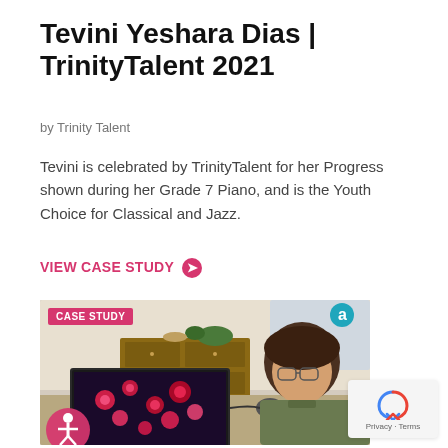Tevini Yeshara Dias | TrinityTalent 2021
by Trinity Talent
Tevini is celebrated by TrinityTalent for her Progress shown during her Grade 7 Piano, and is the Youth Choice for Classical and Jazz.
VIEW CASE STUDY →
[Figure (photo): Photo of a young person with glasses sitting at a desk, looking at a laptop screen showing colorful music software. There is a wooden dresser and plants in the background. A pink 'CASE STUDY' badge overlays the top-left corner of the image. An accessibility icon (stick figure in circle) appears at the bottom-left.]